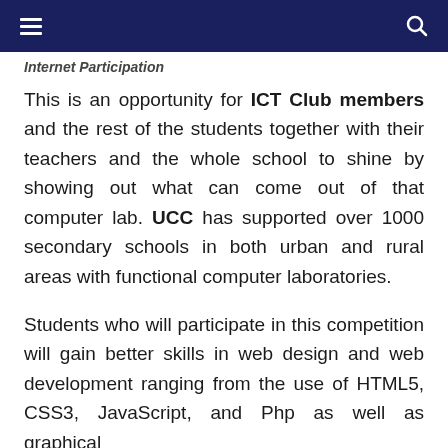Internet Participation
This is an opportunity for ICT Club members and the rest of the students together with their teachers and the whole school to shine by showing out what can come out of that computer lab. UCC has supported over 1000 secondary schools in both urban and rural areas with functional computer laboratories.
Students who will participate in this competition will gain better skills in web design and web development ranging from the use of HTML5, CSS3, JavaScript, and Php as well as graphical